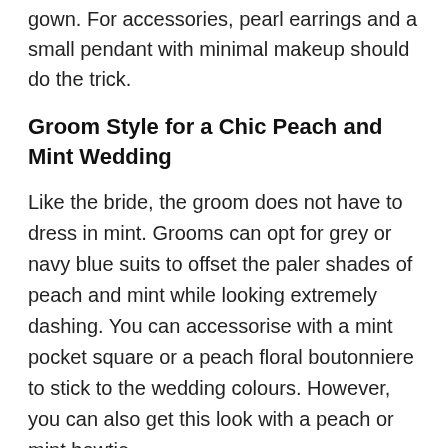gown. For accessories, pearl earrings and a small pendant with minimal makeup should do the trick.
Groom Style for a Chic Peach and Mint Wedding
Like the bride, the groom does not have to dress in mint. Grooms can opt for grey or navy blue suits to offset the paler shades of peach and mint while looking extremely dashing. You can accessorise with a mint pocket square or a peach floral boutonniere to stick to the wedding colours. However, you can also get this look with a peach or mint bowtie.
A gold or silver metallic watch, black shoes, and grey socks should complete the look when it